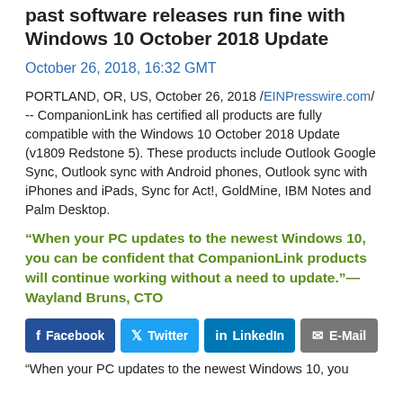past software releases run fine with Windows 10 October 2018 Update
October 26, 2018, 16:32 GMT
PORTLAND, OR, US, October 26, 2018 /EINPresswire.com/ -- CompanionLink has certified all products are fully compatible with the Windows 10 October 2018 Update (v1809 Redstone 5). These products include Outlook Google Sync, Outlook sync with Android phones, Outlook sync with iPhones and iPads, Sync for Act!, GoldMine, IBM Notes and Palm Desktop.
“When your PC updates to the newest Windows 10, you can be confident that CompanionLink products will continue working without a need to update.”—Wayland Bruns, CTO
[Figure (other): Social sharing buttons: Facebook, Twitter, LinkedIn, E-Mail]
“When your PC updates to the newest Windows 10, you